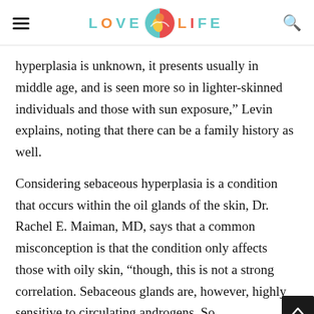LOVE LIFE (with logo icon)
hyperplasia is unknown, it presents usually in middle age, and is seen more so in lighter-skinned individuals and those with sun exposure,” Levin explains, noting that there can be a family history as well.
Considering sebaceous hyperplasia is a condition that occurs within the oil glands of the skin, Dr. Rachel E. Maiman, MD, says that a common misconception is that the condition only affects those with oily skin, “though, this is not a strong correlation. Sebaceous glands are, however, highly sensitive to circulating androgens. So